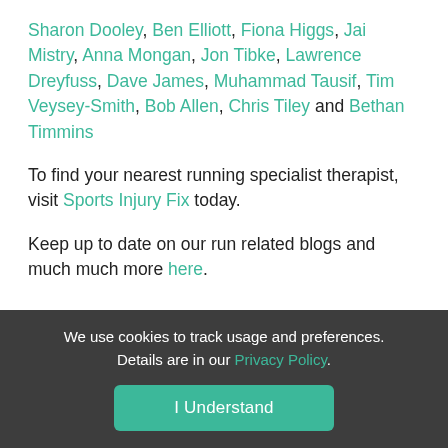Sharon Dooley, Ben Elliott, Fiona Higgs, Jai Mistry, Anna Mongan, Jon Tibke, Lawrence Dreyfuss, Dave James, Muhammad Tausif, Tim Veysey-Smith, Bob Allen, Chris Tiley and Bethan Timmins
To find your nearest running specialist therapist, visit Sports Injury Fix today.
Keep up to date on our run related blogs and much much more here.
We use cookies to track usage and preferences. Details are in our Privacy Policy.